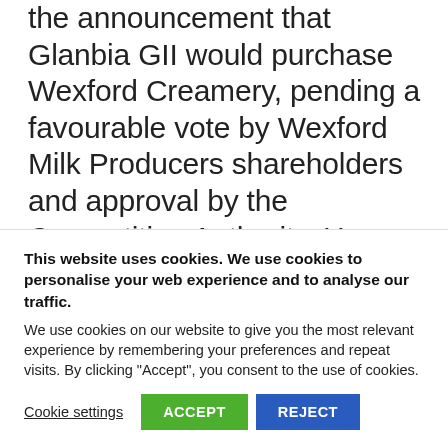the announcement that Glanbia GII would purchase Wexford Creamery, pending a favourable vote by Wexford Milk Producers shareholders and approval by the Competition Authority. He said that this move could further improve efficiencies and scale for the benefit of all dairy farmers in the region, whether they currently supply Wexford Creamery or Gll...
This website uses cookies. We use cookies to personalise your web experience and to analyse our traffic. We use cookies on our website to give you the most relevant experience by remembering your preferences and repeat visits. By clicking "Accept", you consent to the use of cookies.
Cookie settings  ACCEPT  REJECT